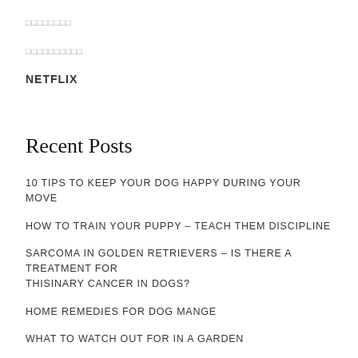□□□□□□□□
□□□□□□□□□□
NETFLIX
Recent Posts
10 TIPS TO KEEP YOUR DOG HAPPY DURING YOUR MOVE
HOW TO TRAIN YOUR PUPPY – TEACH THEM DISCIPLINE
SARCOMA IN GOLDEN RETRIEVERS – IS THERE A TREATMENT FOR THISINARY CANCER IN DOGS?
HOME REMEDIES FOR DOG MANGE
WHAT TO WATCH OUT FOR IN A GARDEN